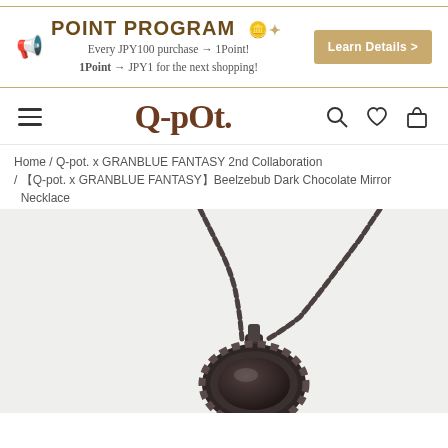POINT PROGRAM — Every JPY100 purchase → 1Point! 1Point → JPY1 for the next shopping! Learn Details >
[Figure (logo): Q-pot. brand logo with navigation icons (hamburger menu, search, heart, shopping bag)]
Home / Q-pot. x GRANBLUE FANTASY 2nd Collaboration / 【Q-pot. x GRANBLUE FANTASY】Beelzebub Dark Chocolate Mirror Necklace
[Figure (photo): Close-up photo of a dark gunmetal necklace pendant — Beelzebub Dark Chocolate Mirror Necklace — with a braided oval mirror pendant and chain, against a light grey background]